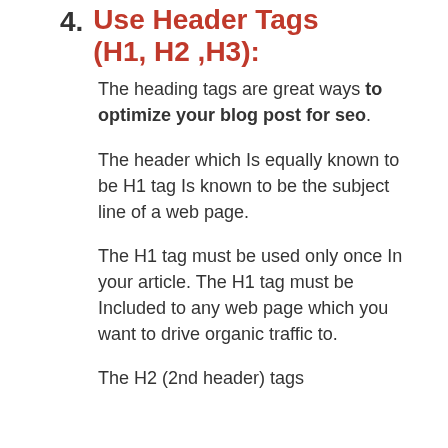4. Use Header Tags (H1, H2 ,H3):
The heading tags are great ways to optimize your blog post for seo.
The header which Is equally known to be H1 tag Is known to be the subject line of a web page.
The H1 tag must be used only once In your article. The H1 tag must be Included to any web page which you want to drive organic traffic to.
The H2 (2nd header) tags...